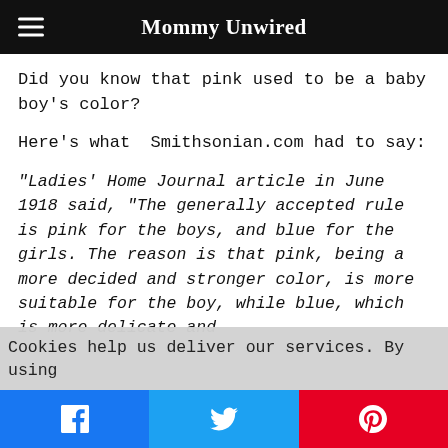Mommy Unwired
Did you know that pink used to be a baby boy's color?
Here's what  Smithsonian.com had to say:
“Ladies’ Home Journal article in June 1918 said, “The generally accepted rule is pink for the boys, and blue for the girls. The reason is that pink, being a more decided and stronger color, is more suitable for the boy, while blue, which is more delicate and
Cookies help us deliver our services. By using